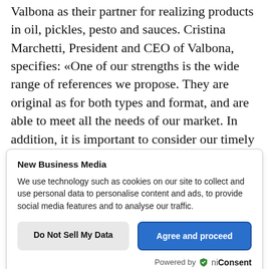Valbona as their partner for realizing products in oil, pickles, pesto and sauces. Cristina Marchetti, President and CEO of Valbona, specifies: «One of our strengths is the wide range of references we propose. They are original as for both types and format, and are able to meet all the needs of our market. In addition, it is important to consider our timely and efficient service, as well as reliable and flexible structure, and high quality standards, required by the
[Figure (screenshot): Cookie consent dialog box with title 'New Business Media', body text about data use, two buttons ('Do Not Sell My Data' and 'Agree and proceed'), and 'Powered by OniConsent' footer.]